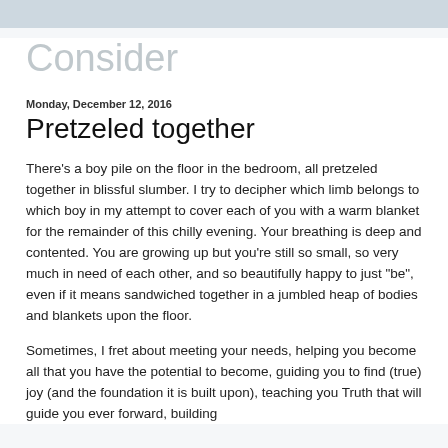Consider
Monday, December 12, 2016
Pretzeled together
There's a boy pile on the floor in the bedroom, all pretzeled together in blissful slumber. I try to decipher which limb belongs to which boy in my attempt to cover each of you with a warm blanket for the remainder of this chilly evening. Your breathing is deep and contented. You are growing up but you're still so small, so very much in need of each other, and so beautifully happy to just "be", even if it means sandwiched together in a jumbled heap of bodies and blankets upon the floor.
Sometimes, I fret about meeting your needs, helping you become all that you have the potential to become, guiding you to find (true) joy (and the foundation it is built upon), teaching you Truth that will guide you ever forward, building